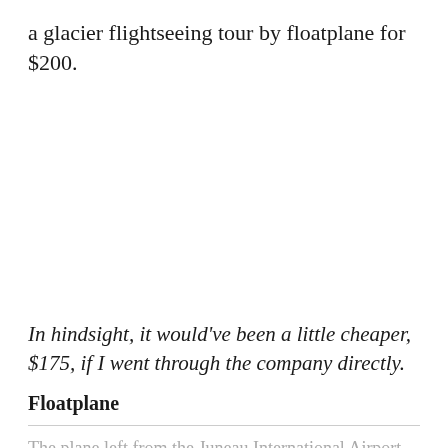a glacier flightseeing tour by floatplane for $200.
In hindsight, it would've been a little cheaper, $175, if I went through the company directly.
Floatplane
The plane left from the Juneau International Airport.